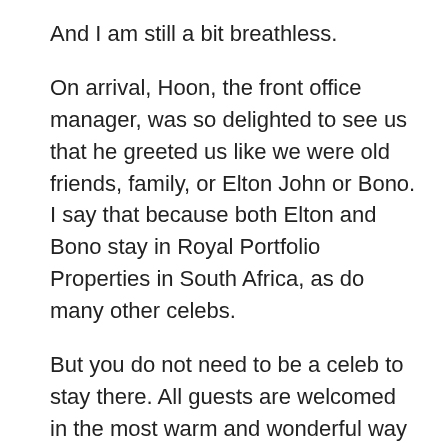And I am still a bit breathless.
On arrival, Hoon, the front office manager, was so delighted to see us that he greeted us like we were old friends, family, or Elton John or Bono. I say that because both Elton and Bono stay in Royal Portfolio Properties in South Africa, as do many other celebs.
But you do not need to be a celeb to stay there. All guests are welcomed in the most warm and wonderful way and get the same personal service and treatment. And it is the staff and service, not just the extraordinary decor, views, style, architecture or snacks, that make everything so